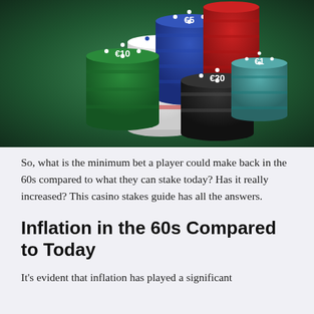[Figure (photo): Stacks of casino chips on a green felt table. Chips labeled €1 (white), €5 (blue), €10 (green), €20 (black), and €1 (white/teal) are stacked in multiple columns.]
So, what is the minimum bet a player could make back in the 60s compared to what they can stake today? Has it really increased? This casino stakes guide has all the answers.
Inflation in the 60s Compared to Today
It's evident that inflation has played a significant